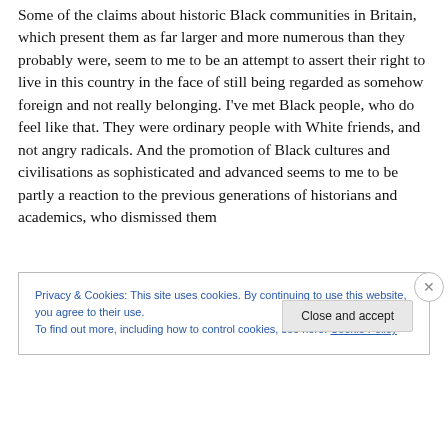Some of the claims about historic Black communities in Britain, which present them as far larger and more numerous than they probably were, seem to me to be an attempt to assert their right to live in this country in the face of still being regarded as somehow foreign and not really belonging. I've met Black people, who do feel like that. They were ordinary people with White friends, and not angry radicals. And the promotion of Black cultures and civilisations as sophisticated and advanced seems to me to be partly a reaction to the previous generations of historians and academics, who dismissed them
Privacy & Cookies: This site uses cookies. By continuing to use this website, you agree to their use.
To find out more, including how to control cookies, see here: Cookie Policy
Close and accept